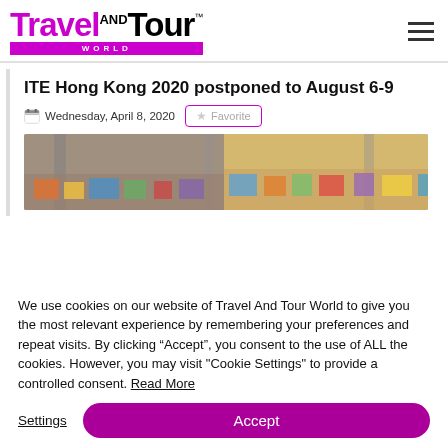Travel AND Tour WORLD
ITE Hong Kong 2020 postponed to August 6-9
Wednesday, April 8, 2020
[Figure (photo): Exhibition hall aerial view showing trade show booths and displays]
We use cookies on our website of Travel And Tour World to give you the most relevant experience by remembering your preferences and repeat visits. By clicking “Accept”, you consent to the use of ALL the cookies. However, you may visit "Cookie Settings" to provide a controlled consent. Read More
Settings
Accept